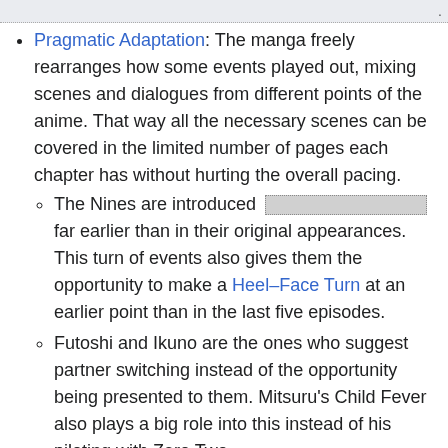Pragmatic Adaptation: The manga freely rearranges how some events played out, mixing scenes and dialogues from different points of the anime. That way all the necessary scenes can be covered in the limited number of pages each chapter has without hurting the overall pacing.
The Nines are introduced [redacted] far earlier than in their original appearances. This turn of events also gives them the opportunity to make a Heel–Face Turn at an earlier point than in the last five episodes.
Futoshi and Ikuno are the ones who suggest partner switching instead of the opportunity being presented to them. Mitsuru's Child Fever also plays a big role into this instead of his piloting with Zero Two.
Production Throwback:
Strelizia's Transformation Sequence in episodes 1 and